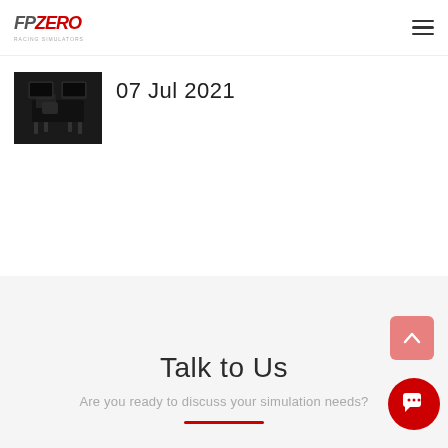FP ZERO
[Figure (photo): Black and white photo of a racing simulator cockpit/rig with black frame and adjustable legs]
07 Jul 2021
Talk to Us
Are you ready to discuss your simulation needs?